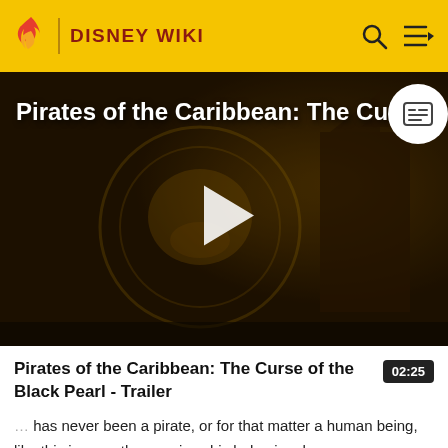DISNEY WIKI
[Figure (screenshot): Video thumbnail for Pirates of the Caribbean: The Curse of the Black Pearl trailer, showing a dark golden-toned scene with a skull medallion and ship. A white play button triangle is centered on the video. Title text 'Pirates of the Caribbean: The Curse' is visible at the top left.]
Pirates of the Caribbean: The Curse of the Black Pearl - Trailer
has never been a pirate, or for that matter a human being, like this in any other movie... his behavior shows a